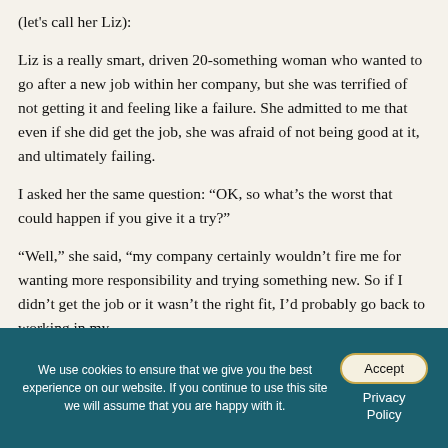(let's call her Liz):
Liz is a really smart, driven 20-something woman who wanted to go after a new job within her company, but she was terrified of not getting it and feeling like a failure. She admitted to me that even if she did get the job, she was afraid of not being good at it, and ultimately failing.
I asked her the same question: “OK, so what’s the worst that could happen if you give it a try?”
“Well,” she said, “my company certainly wouldn’t fire me for wanting more responsibility and trying something new. So if I didn’t get the job or it wasn’t the right fit, I’d probably go back to working in my
We use cookies to ensure that we give you the best experience on our website. If you continue to use this site we will assume that you are happy with it.